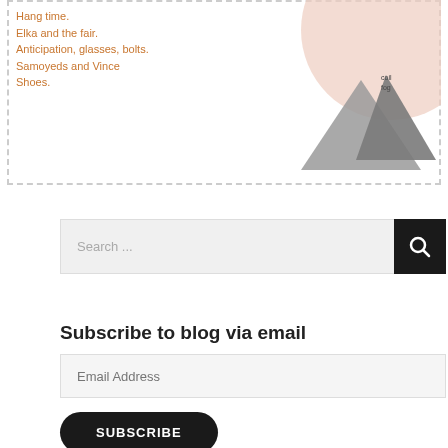[Figure (pie-chart): Partial pie chart visible in upper right, with peach/pink and gray triangular slices, labeled 'coil' and 'fog']
Hang time.
Elka and the fair.
Anticipation, glasses, bolts.
Samoyeds and Vince
Shoes.
Search ...
Subscribe to blog via email
Email Address
SUBSCRIBE